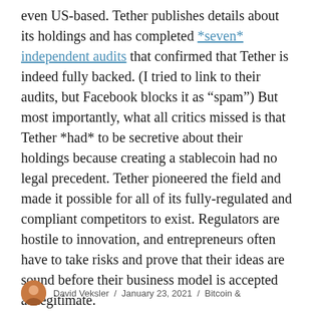even US-based. Tether publishes details about its holdings and has completed *seven* independent audits that confirmed that Tether is indeed fully backed. (I tried to link to their audits, but Facebook blocks it as “spam”) But most importantly, what all critics missed is that Tether *had* to be secretive about their holdings because creating a stablecoin had no legal precedent. Tether pioneered the field and made it possible for all of its fully-regulated and compliant competitors to exist. Regulators are hostile to innovation, and entrepreneurs often have to take risks and prove that their ideas are sound before their business model is accepted as legitimate.
David Veksler / January 23, 2021 / Bitcoin &